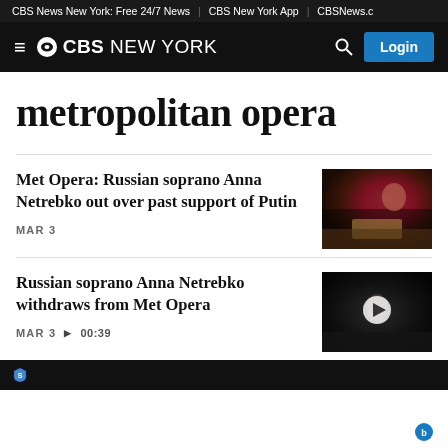CBS News New York: Free 24/7 News | CBS New York App | CBSNews.c
CBS NEW YORK  Login
metropolitan opera
Met Opera: Russian soprano Anna Netrebko out over past support of Putin
MAR 3
[Figure (photo): Photo of Anna Netrebko performing on stage in a dark red/burgundy costume]
Russian soprano Anna Netrebko withdraws from Met Opera
MAR 3  ▶ 00:39
[Figure (photo): Video thumbnail of a performer on a dark stage with a play button overlay]